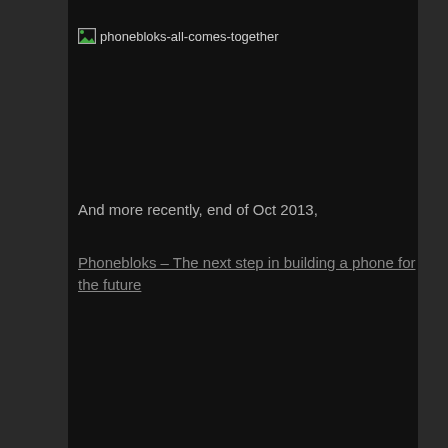[Figure (other): Broken image placeholder with filename text: phonebloks-all-comes-together]
And more recently, end of Oct 2013,
Phonebloks – The next step in building a phone for the future